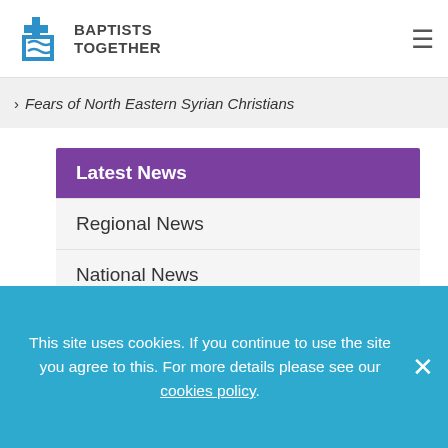BAPTISTS TOGETHER
Fears of North Eastern Syrian Christians
Latest News
Regional News
National News
International News
[Figure (logo): Baptists Together logo with cross and wave icon, text reading BAPTIST]
This site uses cookies. If you continue to use the site you agree to this. For more details please see our cookies policy.